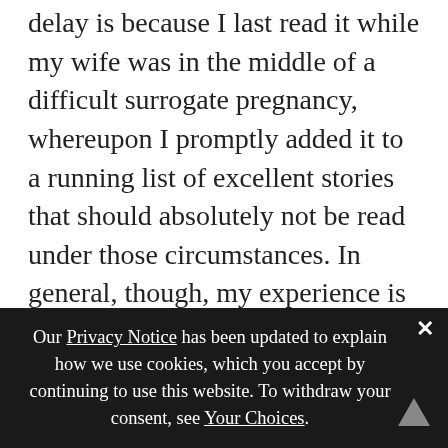delay is because I last read it while my wife was in the middle of a difficult surrogate pregnancy, whereupon I promptly added it to a running list of excellent stories that should absolutely not be read under those circumstances. In general, though, my experience is that people potentially capable of gestating often read this story very differently from those who've never had to worry about the implications of their own personal uterus. I've seen reviews that consider the Tlic-human relationship one of wildly imaginative body horror. A commenter asked a couple of weeks ago whether the Reread really earns our claim to girl cooties, so allow me to say: Gee, imagine if one group of people had power over another group, but also
Our Privacy Notice has been updated to explain how we use cookies, which you accept by continuing to use this website. To withdraw your consent, see Your Choices.